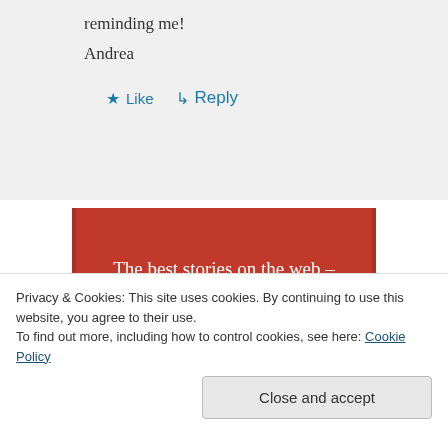reminding me!
Andrea
★ Like
↳ Reply
[Figure (illustration): Red advertisement banner with white serif text reading 'The best stories on the web – ours, and everyone else's.' and a black button labeled 'Start reading']
Privacy & Cookies: This site uses cookies. By continuing to use this website, you agree to their use.
To find out more, including how to control cookies, see here: Cookie Policy
Close and accept